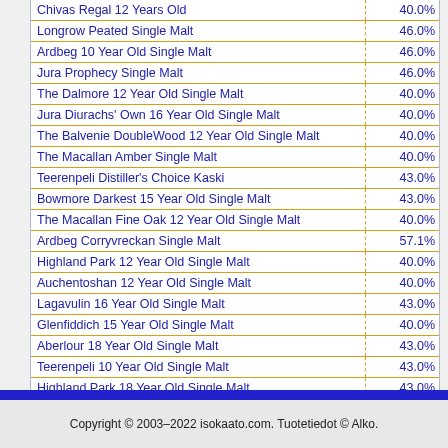| Product | ABV |
| --- | --- |
| Chivas Regal 12 Years Old | 40.0% |
| Longrow Peated Single Malt | 46.0% |
| Ardbeg 10 Year Old Single Malt | 46.0% |
| Jura Prophecy Single Malt | 46.0% |
| The Dalmore 12 Year Old Single Malt | 40.0% |
| Jura Diurachs' Own 16 Year Old Single Malt | 40.0% |
| The Balvenie DoubleWood 12 Year Old Single Malt | 40.0% |
| The Macallan Amber Single Malt | 40.0% |
| Teerenpeli Distiller's Choice Kaski | 43.0% |
| Bowmore Darkest 15 Year Old Single Malt | 43.0% |
| The Macallan Fine Oak 12 Year Old Single Malt | 40.0% |
| Ardbeg Corryvreckan Single Malt | 57.1% |
| Highland Park 12 Year Old Single Malt | 40.0% |
| Auchentoshan 12 Year Old Single Malt | 40.0% |
| Lagavulin 16 Year Old Single Malt | 43.0% |
| Glenfiddich 15 Year Old Single Malt | 40.0% |
| Aberlour 18 Year Old Single Malt | 43.0% |
| Teerenpeli 10 Year Old Single Malt | 43.0% |
| Highland Park 18 Year Old Single Malt | 43.0% |
Copyright © 2003–2022 isokaato.com. Tuotetiedot © Alko.